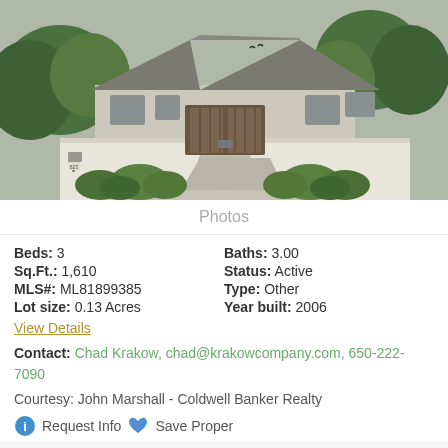[Figure (photo): Exterior photo of a modern residential home with white stucco walls, metal gate, lush green landscaping with ornamental grasses, and a stone/concrete walkway leading to the entrance. Number 825 visible on mailbox post.]
Photos
Beds: 3
Baths: 3.00
Sq.Ft.: 1,610
Status: Active
MLS#: ML81899385
Type: Other
Lot size: 0.13 Acres
Year built: 2006
View Details
Contact: Chad Krakow, chad@krakowcompany.com, 650-222-7090
Courtesy: John Marshall - Coldwell Banker Realty
Request Info   Save Property